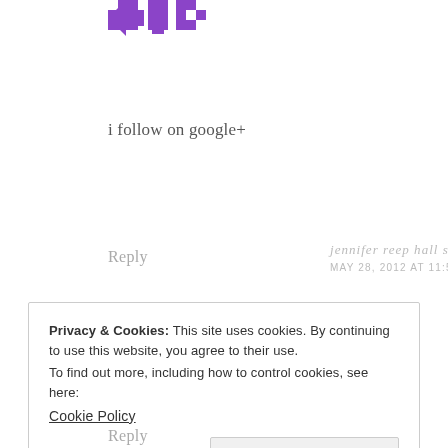[Figure (logo): Purple geometric/pixel-art style logo mark at top]
i follow on google+
Reply
jennifer reep hall says
MAY 28, 2012 AT 11:53 AM
Privacy & Cookies: This site uses cookies. By continuing to use this website, you agree to their use.
To find out more, including how to control cookies, see here:
Cookie Policy
Close and accept
Reply